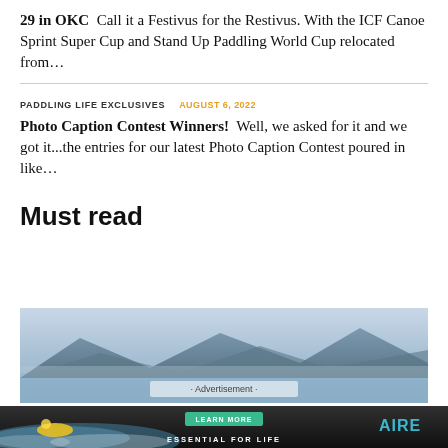29 in OKC  Call it a Festivus for the Restivus. With the ICF Canoe Sprint Super Cup and Stand Up Paddling World Cup relocated from…
PADDLING LIFE EXCLUSIVES   AUGUST 6, 2022
Photo Caption Contest Winners!  Well, we asked for it and we got it...the entries for our latest Photo Caption Contest poured in like…
Must read
[Figure (photo): Scenic mountain lake or fjord with misty blue mountains in background and calm water. Advertisement overlay at bottom.]
[Figure (photo): Bottom advertisement banner with whitewater kayaking scene, LEARN MORE button, ESSENTIAL FOR LIFE text, and AIRE logo.]